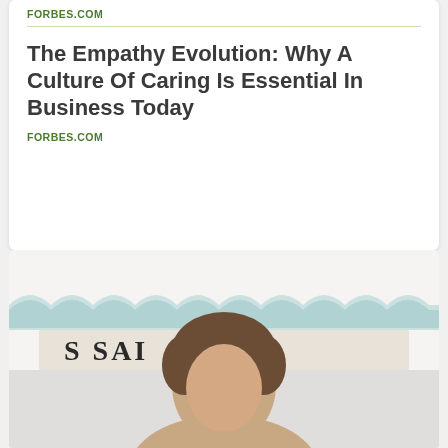FORBES.COM
The Empathy Evolution: Why A Culture Of Caring Is Essential In Business Today
FORBES.COM
[Figure (photo): Photograph of a person (head and shoulders) in front of a backdrop with scalloped decoration and partial text reading 'SA[I]']